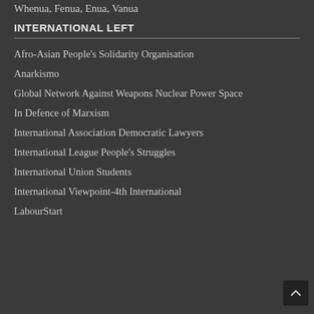Whenua, Fenua, Enua, Vanua
INTERNATIONAL LEFT
Afro-Asian People's Solidarity Organisation
Anarkismo
Global Network Against Weapons Nuclear Power Space
In Defence of Marxism
International Association Democratic Lawyers
International League People's Struggles
International Union Students
International Viewpoint-4th International
LabourStart